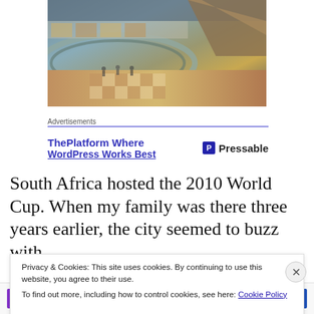[Figure (photo): Interior of a large shopping mall showing multiple floors, escalators, and a checkered marble floor with shoppers visible]
Advertisements
[Figure (screenshot): Advertisement banner: 'ThePlatform Where WordPress Works Best' with Pressable logo]
South Africa hosted the 2010 World Cup. When my family was there three years earlier, the city seemed to buzz with
Privacy & Cookies: This site uses cookies. By continuing to use this website, you agree to their use.
To find out more, including how to control cookies, see here: Cookie Policy